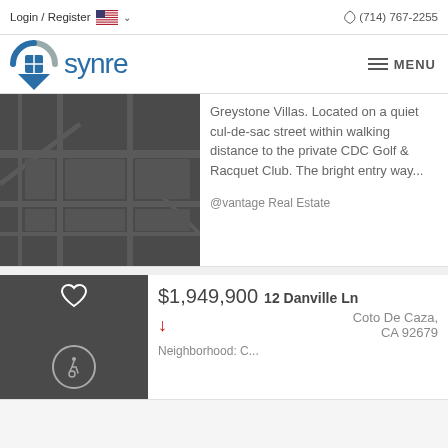Login / Register  (714) 767-2255
[Figure (logo): Synre real estate logo with circular icon and blue text 'synre']
[Figure (map): Dark grey map background showing street layout]
Greystone Villas. Located on a quiet cul-de-sac street within walking distance to the private CDC Golf & Racquet Club. The bright entry way...
@vantage Real Estate
[Figure (photo): Dark grey listing card image with heart icon and wheelchair accessibility icon]
$1,949,900  12 Danville Ln  Coto De Caza, CA 92679
Neighborhood: C...